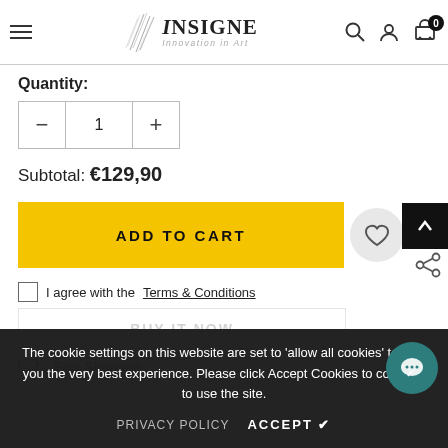INSIGNE Innovation in Art — navigation header
Quantity:
1
Subtotal: €129,90
ADD TO CART
I agree with the Terms & Conditions
BUY IT NOW
Free Shipping
Free Expre...
The cookie settings on this website are set to 'allow all cookies' to give you the very best experience. Please click Accept Cookies to continue to use the site.
PRIVACY POLICY   ACCEPT  ✔